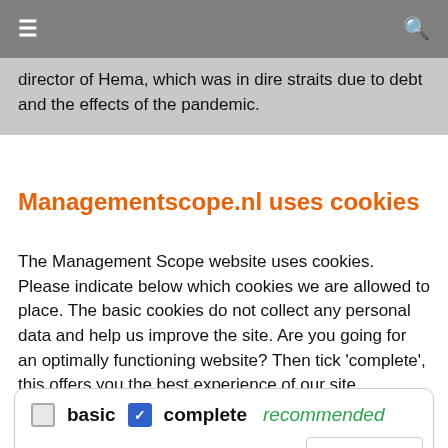≡  🔍
director of Hema, which was in dire straits due to debt and the effects of the pandemic.
Managementscope.nl uses cookies
The Management Scope website uses cookies. Please indicate below which cookies we are allowed to place. The basic cookies do not collect any personal data and help us improve the site. Are you going for an optimally functioning website? Then tick 'complete', this offers you the best experience of our site.
basic  ✓ complete  recommended  details ▼  Accept